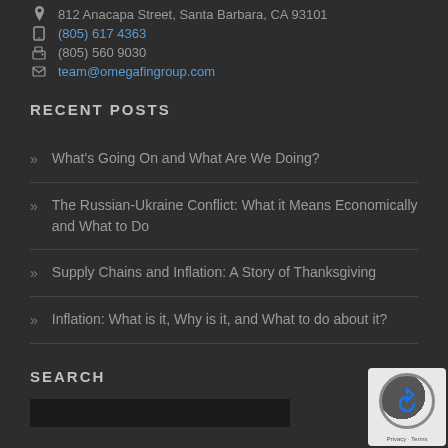812 Anacapa Street, Santa Barbara, CA 93101
(805) 617 4363
(805) 560 9030
team@omegafingroup.com
RECENT POSTS
What's Going On and What Are We Doing?
The Russian-Ukraine Conflict: What it Means Economically and What to Do
Supply Chains and Inflation: A Story of Thanksgiving
Inflation: What is it, Why is it, and What to do about it?
SEARCH